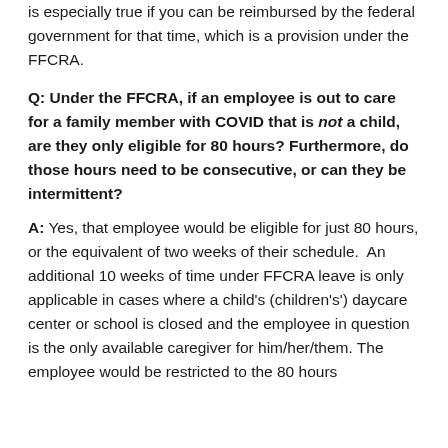is especially true if you can be reimbursed by the federal government for that time, which is a provision under the FFCRA.
Q: Under the FFCRA, if an employee is out to care for a family member with COVID that is not a child, are they only eligible for 80 hours? Furthermore, do those hours need to be consecutive, or can they be intermittent?
A: Yes, that employee would be eligible for just 80 hours, or the equivalent of two weeks of their schedule.  An additional 10 weeks of time under FFCRA leave is only applicable in cases where a child's (children's') daycare center or school is closed and the employee in question is the only available caregiver for him/her/them. The employee would be restricted to the 80 hours